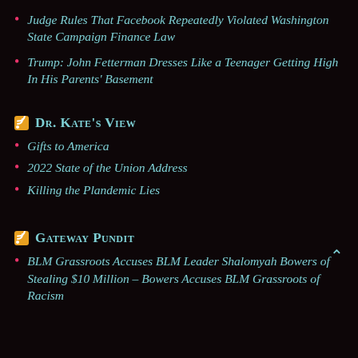Judge Rules That Facebook Repeatedly Violated Washington State Campaign Finance Law
Trump: John Fetterman Dresses Like a Teenager Getting High In His Parents' Basement
Dr. Kate's View
Gifts to America
2022 State of the Union Address
Killing the Plandemic Lies
Gateway Pundit
BLM Grassroots Accuses BLM Leader Shalomyah Bowers of Stealing $10 Million – Bowers Accuses BLM Grassroots of Racism